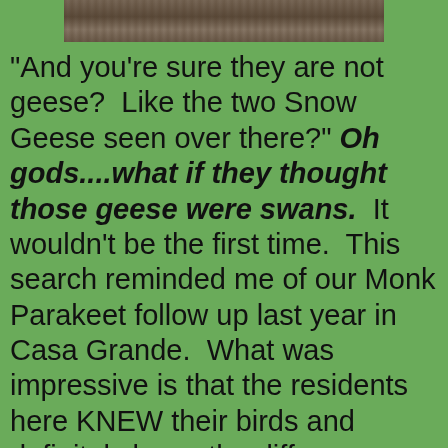[Figure (photo): Partial photograph of what appears to be a rocky or wooded surface, cropped at the top of the page.]
"And you're sure they are not geese?  Like the two Snow Geese seen over there?" Oh gods....what if they thought those geese were swans.  It wouldn't be the first time.  This search reminded me of our Monk Parakeet follow up last year in Casa Grande.  What was impressive is that the residents here KNEW their birds and definitely knew the difference between a goose and a swan.  That was really cool. But where were they?